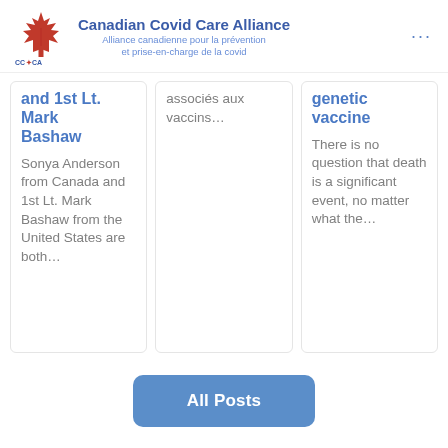Canadian Covid Care Alliance / Alliance canadienne pour la prévention et prise-en-charge de la covid
and 1st Lt. Mark Bashaw
Sonya Anderson from Canada and 1st Lt. Mark Bashaw from the United States are both…
associés aux vaccins…
genetic vaccine
There is no question that death is a significant event, no matter what the…
All Posts